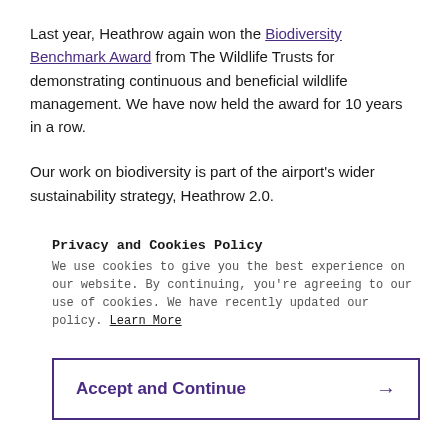Last year, Heathrow again won the Biodiversity Benchmark Award from The Wildlife Trusts for demonstrating continuous and beneficial wildlife management. We have now held the award for 10 years in a row.

Our work on biodiversity is part of the airport's wider sustainability strategy, Heathrow 2.0.
Privacy and Cookies Policy
We use cookies to give you the best experience on our website. By continuing, you're agreeing to our use of cookies. We have recently updated our policy. Learn More
Accept and Continue →